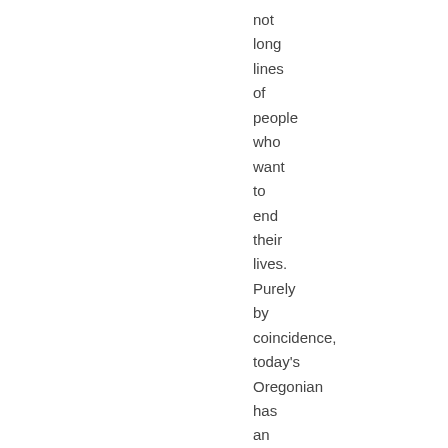not long lines of people who want to end their lives. Purely by coincidence, today's Oregonian has an article about euthanasia and I found it interesting that